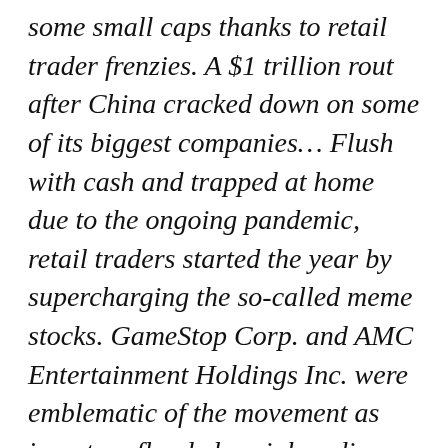some small caps thanks to retail trader frenzies. A $1 trillion rout after China cracked down on some of its biggest companies… Flush with cash and trapped at home due to the ongoing pandemic, retail traders started the year by supercharging the so-called meme stocks. GameStop Corp. and AMC Entertainment Holdings Inc. were emblematic of the movement as investors flooded social media platforms with calls to buy shares of the struggling companies. AMC Entertainment has skyrocketed more than 1,200% and GameStop rallied about 700%."